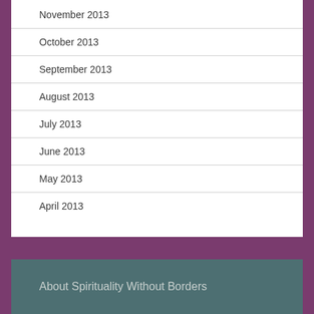November 2013
October 2013
September 2013
August 2013
July 2013
June 2013
May 2013
April 2013
About Spirituality Without Borders